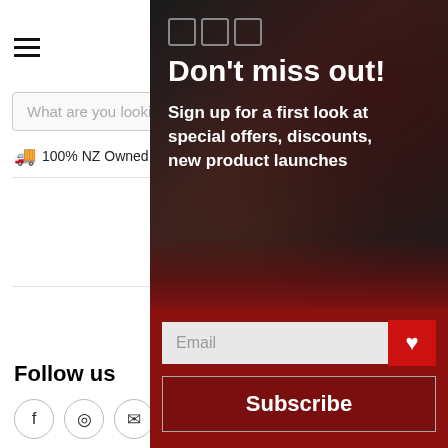[Figure (logo): Riders Outlet logo in bold italic black and red text with red slash accent]
What are you looking for?
100% NZ Owned
Follow us
Navigate
Resources
[Figure (infographic): Dark popup overlay with motocross background image, showing Don't miss out! email signup form]
Don't miss out!
Sign up for a first look at special offers, discounts, new product launches